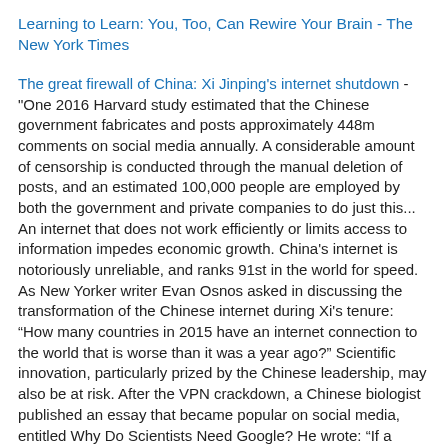Learning to Learn: You, Too, Can Rewire Your Brain - The New York Times
The great firewall of China: Xi Jinping's internet shutdown - "One 2016 Harvard study estimated that the Chinese government fabricates and posts approximately 448m comments on social media annually. A considerable amount of censorship is conducted through the manual deletion of posts, and an estimated 100,000 people are employed by both the government and private companies to do just this... An internet that does not work efficiently or limits access to information impedes economic growth. China's internet is notoriously unreliable, and ranks 91st in the world for speed. As New Yorker writer Evan Osnos asked in discussing the transformation of the Chinese internet during Xi's tenure: “How many countries in 2015 have an internet connection to the world that is worse than it was a year ago?” Scientific innovation, particularly prized by the Chinese leadership, may also be at risk. After the VPN crackdown, a Chinese biologist published an essay that became popular on social media, entitled Why Do Scientists Need Google? He wrote: “If a country wants to make this many scientists take out time